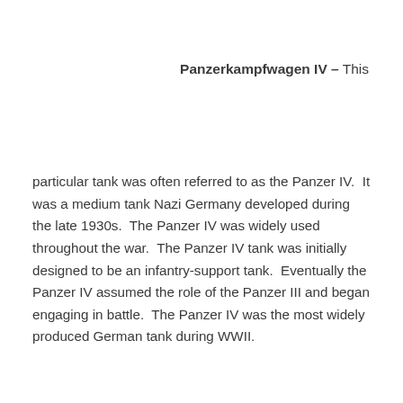Panzerkampfwagen IV – This
particular tank was often referred to as the Panzer IV.  It was a medium tank Nazi Germany developed during the late 1930s.  The Panzer IV was widely used throughout the war.  The Panzer IV tank was initially designed to be an infantry-support tank.  Eventually the Panzer IV assumed the role of the Panzer III and began engaging in battle.  The Panzer IV was the most widely produced German tank during WWII.